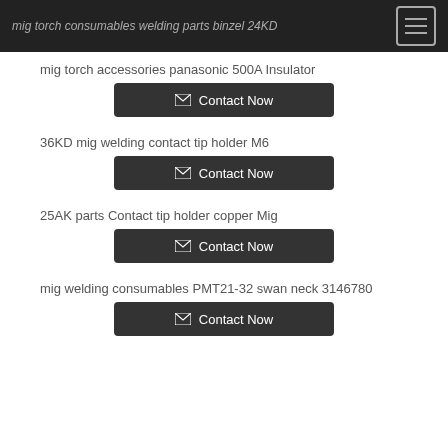mig torch consumables welding parts binzel 24KD
mig torch accessories panasonic 500A Insulator
Contact Now
36KD mig welding contact tip holder M6
Contact Now
25AK parts Contact tip holder copper Mig
Contact Now
mig welding consumables PMT21-32 swan neck 3146780
Contact Now